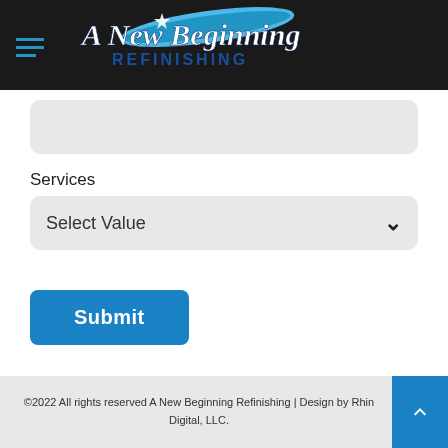A New Beginning Refinishing
[Figure (logo): A New Beginning Refinishing logo with swoosh graphic on dark background]
Services
Select Value
Submit
©2022 All rights reserved A New Beginning Refinishing | Design by Rhino Digital, LLC.